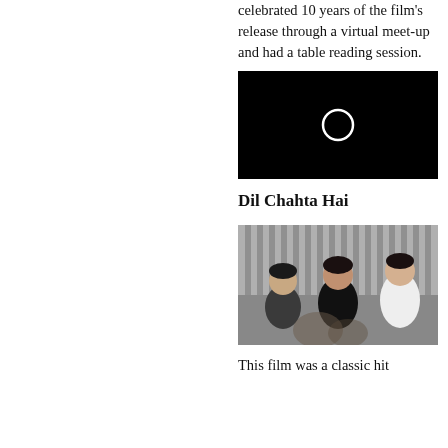celebrated 10 years of the film's release through a virtual meet-up and had a table reading session.
[Figure (photo): Black video thumbnail with a white circular play/loading ring in the center]
Dil Chahta Hai
[Figure (photo): Three men sitting together outdoors, posing for a photo. Left man in dark top, center man in black shirt, right man in white t-shirt.]
This film was a classic hit